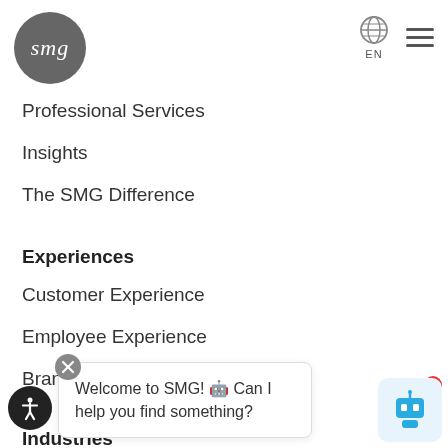[Figure (logo): SMG logo: circular dark gray badge with white cursive SMG text]
[Figure (infographic): Globe icon with EN label and hamburger menu icon]
Professional Services
Insights
The SMG Difference
Experiences
Customer Experience
Employee Experience
Brand Experience
Industries
Restaurant
Retail
Welcome to SMG! 🤖 Can I help you find something?